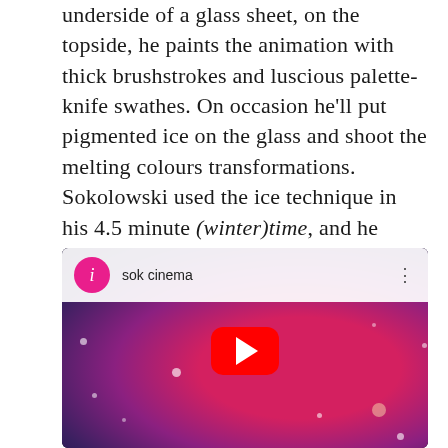underside of a glass sheet, on the topside, he paints the animation with thick brushstrokes and luscious palette-knife swathes. On occasion he'll put pigmented ice on the glass and shoot the melting colours transformations. Sokolowski used the ice technique in his 4.5 minute (winter)time, and he generously sent a clip from that short for The Ice Cubicle to post.
[Figure (screenshot): Embedded YouTube video player showing 'sok cinema' channel with a thumbnail of a pink/purple abstract painting with sparkles, and a red YouTube play button in the center.]